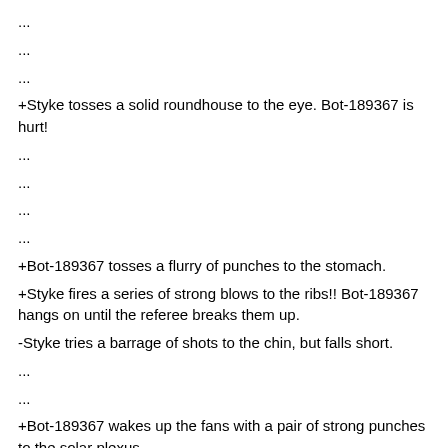...
...
...
+Styke tosses a solid roundhouse to the eye. Bot-189367 is hurt!
...
...
...
...
+Bot-189367 tosses a flurry of punches to the stomach.
+Styke fires a series of strong blows to the ribs!! Bot-189367 hangs on until the referee breaks them up.
-Styke tries a barrage of shots to the chin, but falls short.
...
...
+Bot-189367 wakes up the fans with a pair of strong punches to the solar plexus.
...
-Styke attacks with a pair of punches to the mouth, but